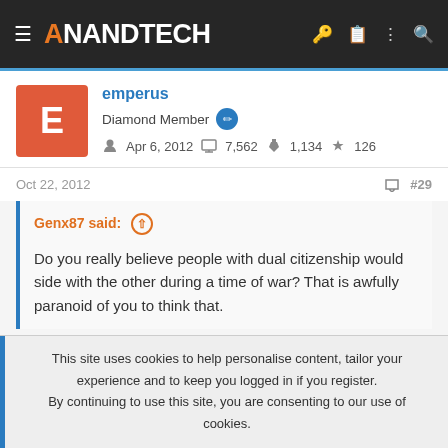AnandTech
emperus
Diamond Member
Apr 6, 2012  7,562  1,134  126
Oct 22, 2012  #29
Genx87 said:
Do you really believe people with dual citizenship would side with the other during a time of war? That is awfully paranoid of you to think that.
This site uses cookies to help personalise content, tailor your experience and to keep you logged in if you register.
By continuing to use this site, you are consenting to our use of cookies.